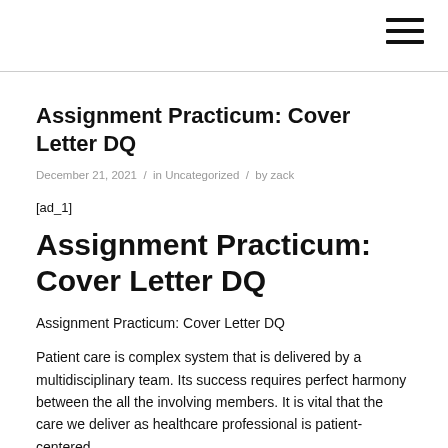Assignment Practicum: Cover Letter DQ
December 21, 2021 / in Uncategorized / by zack
[ad_1]
Assignment Practicum: Cover Letter DQ
Assignment Practicum: Cover Letter DQ
Patient care is complex system that is delivered by a multidisciplinary team. Its success requires perfect harmony between the all the involving members. It is vital that the care we deliver as healthcare professional is patient-centered